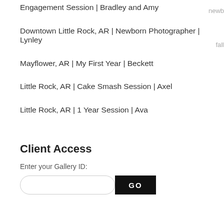Engagement Session | Bradley and Amy
Downtown Little Rock, AR | Newborn Photographer | Lynley
Mayflower, AR | My First Year | Beckett
Little Rock, AR | Cake Smash Session | Axel
Little Rock, AR | 1 Year Session | Ava
Client Access
Enter your Gallery ID:
GO